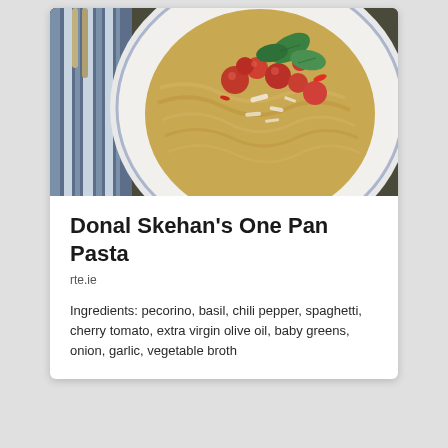[Figure (photo): Overhead photo of a plate of pasta (fettuccine/tagliatelle) topped with cherry tomatoes, basil leaves, and grated pecorino cheese, on a blue-patterned white plate, with a blue striped cloth napkin and cutlery in the background.]
Donal Skehan's One Pan Pasta
rte.ie
Ingredients: pecorino, basil, chili pepper, spaghetti, cherry tomato, extra virgin olive oil, baby greens, onion, garlic, vegetable broth